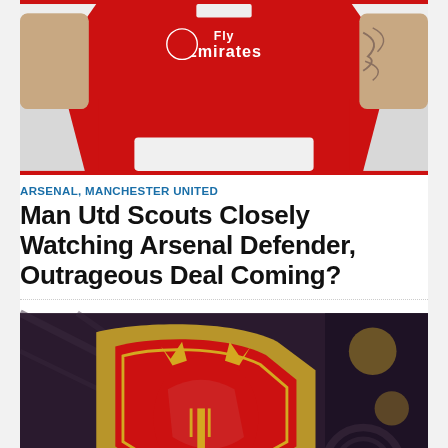[Figure (photo): Arsenal player wearing red Fly Emirates kit, close-up of torso showing club crest and sponsor]
ARSENAL, MANCHESTER UNITED
Man Utd Scouts Closely Watching Arsenal Defender, Outrageous Deal Coming?
[Figure (photo): Close-up of Manchester United club crest/badge on fabric, red and gold devil emblem with MUFC shield]